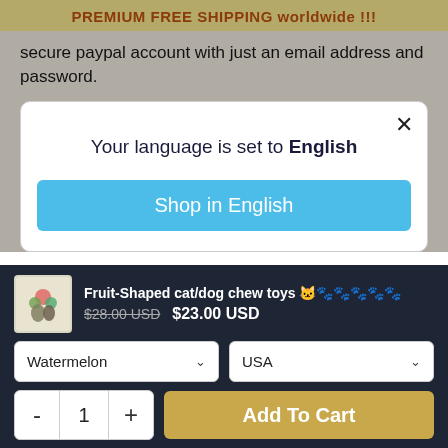PREMIUM FREE SHIPPING worldwide !!!
secure paypal account with just an email address and password.
Your language is set to English
Shop in English
Fruit-Shaped cat/dog chew toys 🐱🐾🐾🐾🐾🐾 $28.00 USD  $23.00 USD
Watermelon
USA
- 1 +
Add To Cart